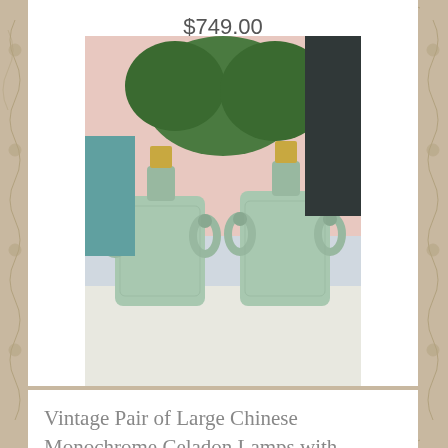$749.00
[Figure (photo): Two vintage celadon green ceramic lamps with elephant handles, photographed outdoors on a white table with greenery in background]
Vintage Pair of Large Chinese Monochrome Celadon Lamps with Elephant Handles
$25.72
[Figure (photo): A silver chain bracelet with a lion head clasp being held in a hand against a dark textured background]